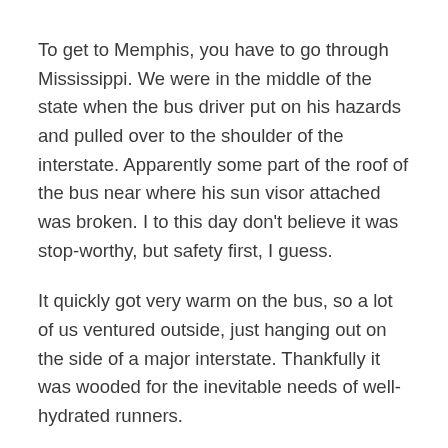To get to Memphis, you have to go through Mississippi. We were in the middle of the state when the bus driver put on his hazards and pulled over to the shoulder of the interstate. Apparently some part of the roof of the bus near where his sun visor attached was broken. I to this day don't believe it was stop-worthy, but safety first, I guess.
It quickly got very warm on the bus, so a lot of us ventured outside, just hanging out on the side of a major interstate. Thankfully it was wooded for the inevitable needs of well-hydrated runners.
After an hour or so, the bus driver let us know that another bus was on the way, and he needed to take this bus to a mechanic. We had to unload all of our stuff and watch the bus drive away (cough, fully functional,